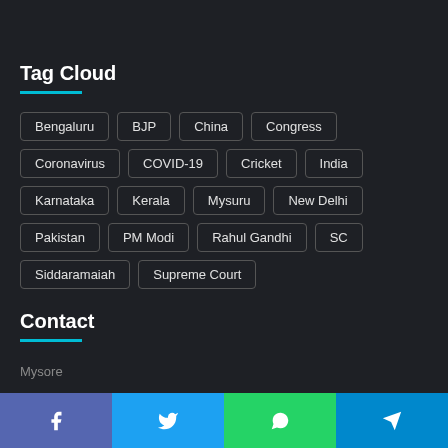Tag Cloud
Bengaluru
BJP
China
Congress
Coronavirus
COVID-19
Cricket
India
Karnataka
Kerala
Mysuru
New Delhi
Pakistan
PM Modi
Rahul Gandhi
SC
Siddaramaiah
Supreme Court
Contact
Mysore